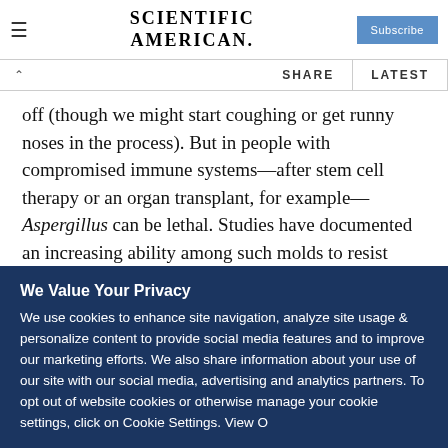SCIENTIFIC AMERICAN.
off (though we might start coughing or get runny noses in the process). But in people with compromised immune systems—after stem cell therapy or an organ transplant, for example—Aspergillus can be lethal. Studies have documented an increasing ability among such molds to resist medical treatments including triazole, the most potent anti-fungal in such cases, even in patients who have never taken the drug.
We Value Your Privacy
We use cookies to enhance site navigation, analyze site usage & personalize content to provide social media features and to improve our marketing efforts. We also share information about your use of our site with our social media, advertising and analytics partners. To opt out of website cookies or otherwise manage your cookie settings, click on Cookie Settings. View O